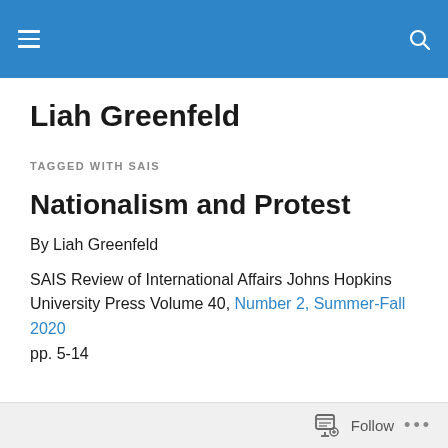Liah Greenfeld — header navigation bar
Liah Greenfeld
TAGGED WITH SAIS
Nationalism and Protest
By Liah Greenfeld
SAIS Review of International Affairs Johns Hopkins University Press Volume 40, Number 2, Summer-Fall 2020 pp. 5-14
Follow ...